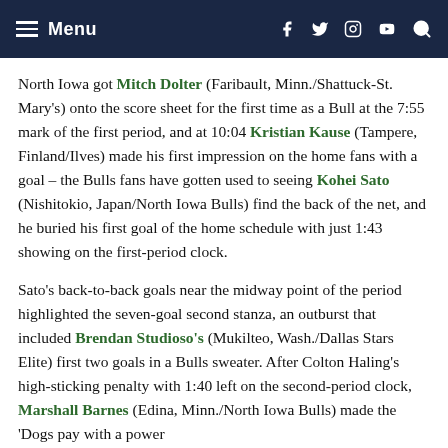Menu
North Iowa got Mitch Dolter (Faribault, Minn./Shattuck-St. Mary’s) onto the score sheet for the first time as a Bull at the 7:55 mark of the first period, and at 10:04 Kristian Kause (Tampere, Finland/Ilves) made his first impression on the home fans with a goal – the Bulls fans have gotten used to seeing Kohei Sato (Nishitokio, Japan/North Iowa Bulls) find the back of the net, and he buried his first goal of the home schedule with just 1:43 showing on the first-period clock.
Sato’s back-to-back goals near the midway point of the period highlighted the seven-goal second stanza, an outburst that included Brendan Studioso’s (Mukilteo, Wash./Dallas Stars Elite) first two goals in a Bulls sweater. After Colton Haling’s high-sticking penalty with 1:40 left on the second-period clock, Marshall Barnes (Edina, Minn./North Iowa Bulls) made the ‘Dogs pay with a power